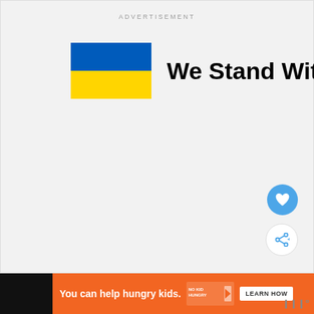ADVERTISEMENT
[Figure (illustration): Ukrainian flag (blue top half, yellow bottom half) square icon next to bold text 'We Stand With You']
[Figure (infographic): Orange advertisement banner at the bottom: 'You can help hungry kids.' with No Kid Hungry logo and 'LEARN HOW' button]